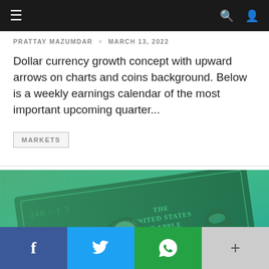Navigation bar with hamburger menu, search and user icons
PRATTAY MAZUMDAR × MARCH 13, 2022
Dollar currency growth concept with upward arrows on charts and coins background. Below is a weekly earnings calendar of the most important upcoming quarter...
MARKETS
[Figure (illustration): A stylized greenish illustration of a dollar bill with Apple logos and Tim Cook's face, labeled 'THE UNITED STATES OF APPLE']
Social share buttons: Facebook, Twitter, WhatsApp, More